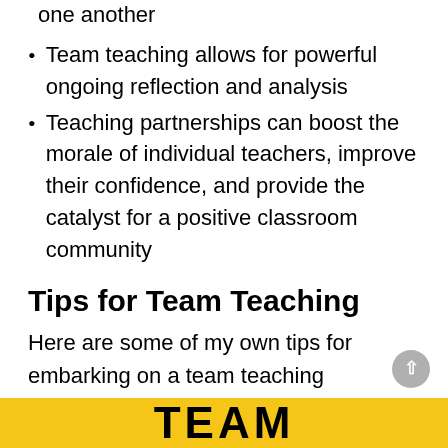one another
Team teaching allows for powerful ongoing reflection and analysis
Teaching partnerships can boost the morale of individual teachers, improve their confidence, and provide the catalyst for a positive classroom community
Tips for Team Teaching
Here are some of my own tips for embarking on a team teaching relationship. I'd love you to share your own ideas and experiences in a comment.
[Figure (other): Yellow banner at the bottom with large bold text 'TEAM' partially visible]